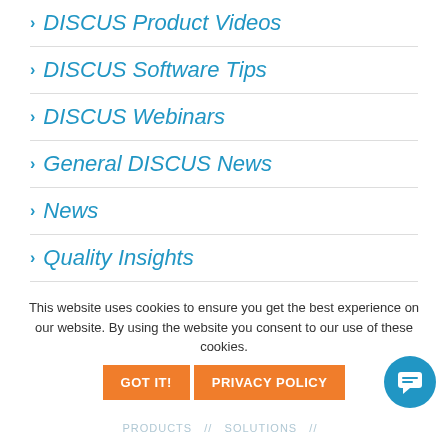> DISCUS Product Videos
> DISCUS Software Tips
> DISCUS Webinars
> General DISCUS News
> News
> Quality Insights
> Quality Inspection Tips
> Uncategorized
This website uses cookies to ensure you get the best experience on our website. By using the website you consent to our use of these cookies.
GOT IT!   PRIVACY POLICY
PRODUCTS // SOLUTIONS //